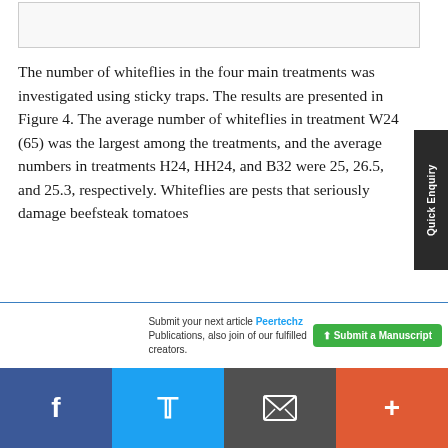[Figure (other): Top partial image/figure bar (cropped figure from previous page)]
The number of whiteflies in the four main treatments was investigated using sticky traps. The results are presented in Figure 4. The average number of whiteflies in treatment W24 (65) was the largest among the treatments, and the average numbers in treatments H24, HH24, and B32 were 25, 26.5, and 25.3, respectively. Whiteflies are pests that seriously damage beefsteak tomatoes
Submit your next article Peertechz Publications, also join of our fulfilled creators.
Submit a Manuscript